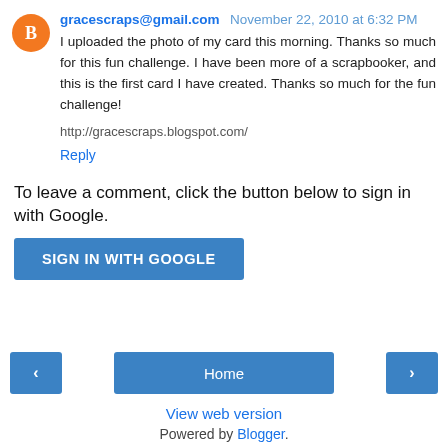gracescraps@gmail.com November 22, 2010 at 6:32 PM
I uploaded the photo of my card this morning. Thanks so much for this fun challenge. I have been more of a scrapbooker, and this is the first card I have created. Thanks so much for the fun challenge!
http://gracescraps.blogspot.com/
Reply
To leave a comment, click the button below to sign in with Google.
SIGN IN WITH GOOGLE
Home
View web version
Powered by Blogger.